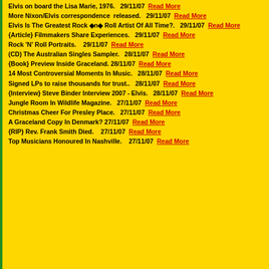Elvis on board the Lisa Marie, 1976.   29/11/07  Read More
More Nixon/Elvis correspondence  released.   29/11/07  Read More
Elvis Is The Greatest Rock ◆n◆ Roll Artist Of All Time?.  29/11/07  Read More
{Article} Filmmakers Share Experiences.  29/11/07  Read More
Rock 'N' Roll Portraits.   29/11/07  Read More
(CD) The Australian Singles Sampler.  28/11/07  Read More
{Book} Preview Inside Graceland. 28/11/07  Read More
14 Most Controversial Moments In Music.   28/11/07  Read More
Signed LPs to raise thousands for trust..   28/11/07  Read More
{Interview} Steve Binder Interview 2007 - Elvis.   28/11/07  Read More
Jungle Room In Wildlife Magazine.  27/11/07  Read More
Christmas Cheer For Presley Place.  27/11/07  Read More
A Graceland Copy In Denmark?  27/11/07  Read More
{RIP} Rev. Frank Smith Died.   27/11/07  Read More
Top Musicians Honoured In Nashville.   27/11/07  Read More